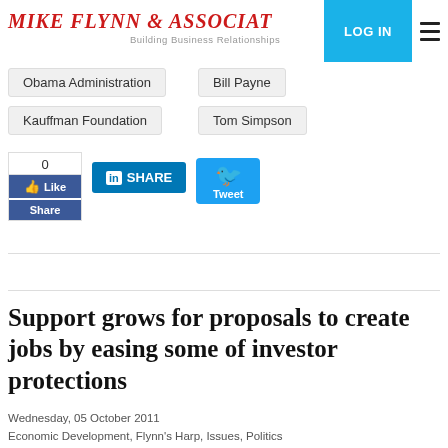MIKE FLYNN & ASSOCIATES — Building Business Relationships | LOG IN
Obama Administration
Bill Payne
Kauffman Foundation
Tom Simpson
[Figure (other): Social sharing buttons: Facebook (0 likes, Share), LinkedIn Share, Twitter Tweet]
Support grows for proposals to create jobs by easing some of investor protections
Wednesday, 05 October 2011
Economic Development, Flynn's Harp, Issues, Politics